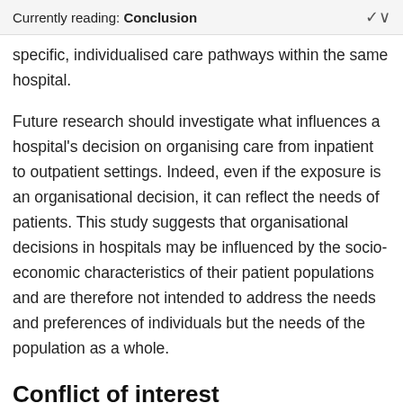Currently reading: Conclusion
specific, individualised care pathways within the same hospital.
Future research should investigate what influences a hospital's decision on organising care from inpatient to outpatient settings. Indeed, even if the exposure is an organisational decision, it can reflect the needs of patients. This study suggests that organisational decisions in hospitals may be influenced by the socio-economic characteristics of their patient populations and are therefore not intended to address the needs and preferences of individuals but the needs of the population as a whole.
Conflict of interest
None.